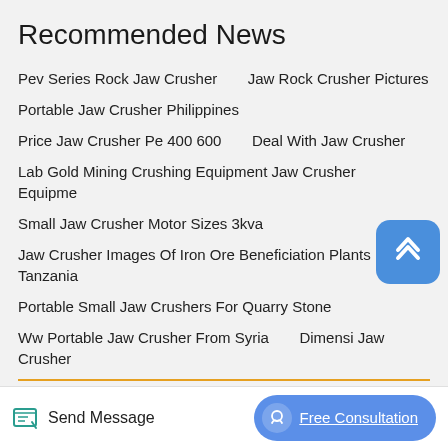Recommended News
Pev Series Rock Jaw Crusher    Jaw Rock Crusher Pictures
Portable Jaw Crusher Philippines
Price Jaw Crusher Pe 400 600    Deal With Jaw Crusher
Lab Gold Mining Crushing Equipment Jaw Crusher Equipment
Small Jaw Crusher Motor Sizes 3kva
Jaw Crusher Images Of Iron Ore Beneficiation Plants In Tanzania
Portable Small Jaw Crushers For Quarry Stone
Ww Portable Jaw Crusher From Syria    Dimensi Jaw Crusher
New Powerscreen Jaw Crusher    Shanghai Mining Jaw Crusher
Send Message
Free Consultation